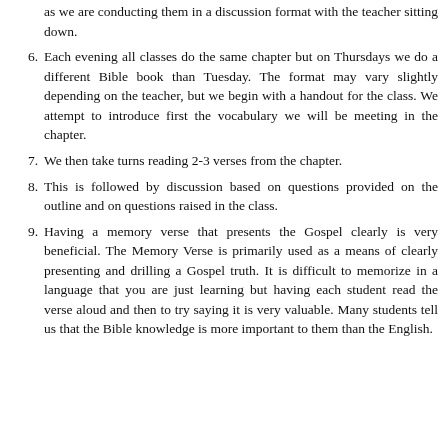(continued) as we are conducting them in a discussion format with the teacher sitting down.
6. Each evening all classes do the same chapter but on Thursdays we do a different Bible book than Tuesday. The format may vary slightly depending on the teacher, but we begin with a handout for the class. We attempt to introduce first the vocabulary we will be meeting in the chapter.
7. We then take turns reading 2-3 verses from the chapter.
8. This is followed by discussion based on questions provided on the outline and on questions raised in the class.
9. Having a memory verse that presents the Gospel clearly is very beneficial. The Memory Verse is primarily used as a means of clearly presenting and drilling a Gospel truth. It is difficult to memorize in a language that you are just learning but having each student read the verse aloud and then to try saying it is very valuable. Many students tell us that the Bible knowledge is more important to them than the English.